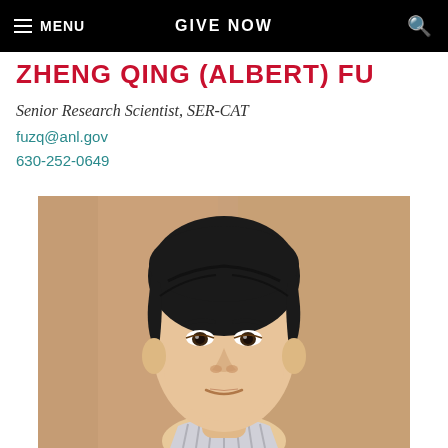☰ MENU   GIVE NOW   🔍
ZHENG QING (ALBERT) FU
Senior Research Scientist, SER-CAT
fuzq@anl.gov
630-252-0649
[Figure (photo): Professional headshot of Zheng Qing (Albert) Fu, a young East Asian man with short dark hair, wearing a striped collared shirt, photographed against a warm tan/beige background.]